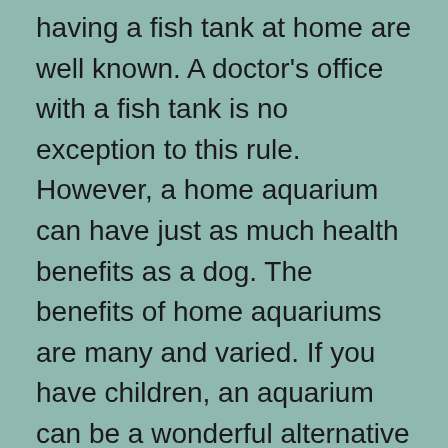having a fish tank at home are well known. A doctor's office with a fish tank is no exception to this rule. However, a home aquarium can have just as much health benefits as a dog. The benefits of home aquariums are many and varied. If you have children, an aquarium can be a wonderful alternative to television and video games.
The origin of the aquarium is unknown, but most public aquariums are close to the ocean. Therefore, a constant supply of natural seawater is necessary for their maintenance.